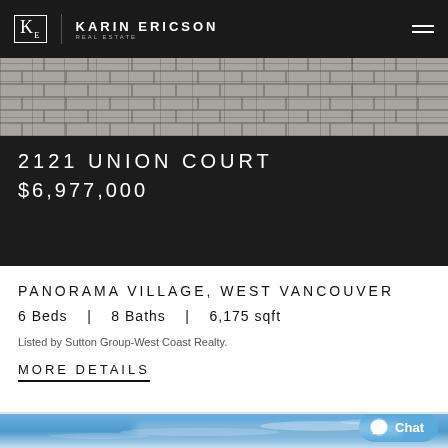KE | KARIN ERICSON REAL ESTATE
[Figure (photo): Overhead/angled view of brick/stone paving pattern]
2121 UNION COURT
$6,977,000
PANORAMA VILLAGE, WEST VANCOUVER
6 Beds   |   8 Baths   |   6,175 sqft
Listed by Sutton Group-West Coast Realty.
MORE DETAILS
[Figure (photo): Sky with light clouds, blue sky, bottom portion of property photo]